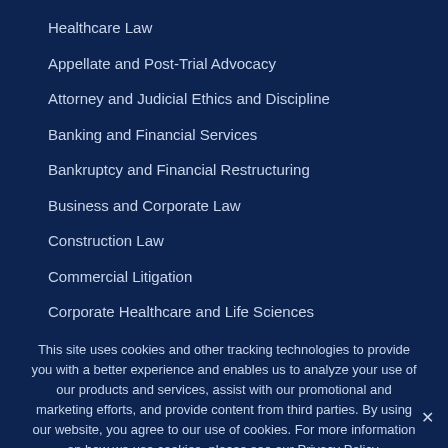Healthcare Law
Appellate and Post-Trial Advocacy
Attorney and Judicial Ethics and Discipline
Banking and Financial Services
Bankruptcy and Financial Restructuring
Business and Corporate Law
Construction Law
Commercial Litigation
Corporate Healthcare and Life Sciences
This site uses cookies and other tracking technologies to provide you with a better experience and enables us to analyze your use of our products and services, assist with our promotional and marketing efforts, and provide content from third parties. By using our website, you agree to our use of cookies. For more information on how we use cookies, please see our Privacy Policy.
I agree  Decline  Privacy policy
Share This  ✓  ✕